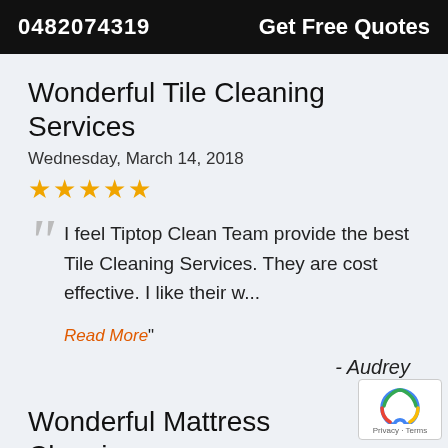0482074319   Get Free Quotes
Wonderful Tile Cleaning Services
Wednesday, March 14, 2018
★★★★★
I feel Tiptop Clean Team provide the best Tile Cleaning Services. They are cost effective. I like their w... Read More"
- Audrey
Wonderful Mattress Cleaning Service